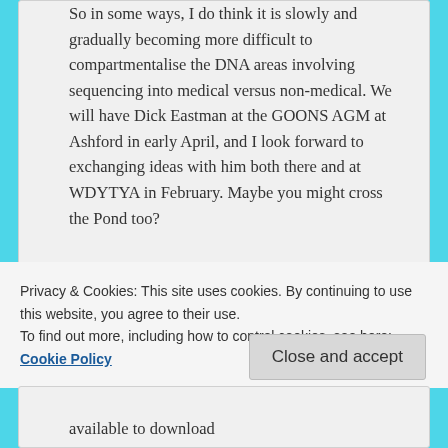So in some ways, I do think it is slowly and gradually becoming more difficult to compartmentalise the DNA areas involving sequencing into medical versus non-medical. We will have Dick Eastman at the GOONS AGM at Ashford in early April, and I look forward to exchanging ideas with him both there and at WDYTYA in February. Maybe you might cross the Pond too?
Loading...
Reply ↓
Privacy & Cookies: This site uses cookies. By continuing to use this website, you agree to their use.
To find out more, including how to control cookies, see here: Cookie Policy
Close and accept
available to download